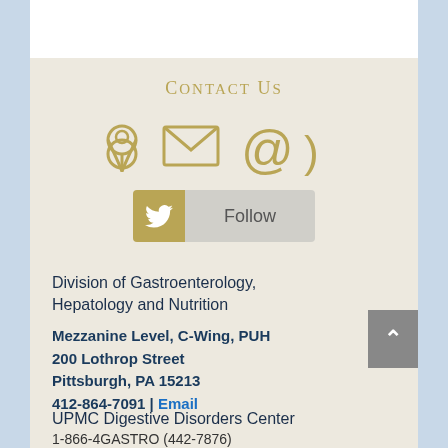Contact Us
[Figure (illustration): Row of contact icons: map pin, envelope, at-sign, phone bracket — rendered in gold/tan color]
[Figure (other): Twitter Follow button: gold Twitter bird icon square next to grey Follow button]
Division of Gastroenterology, Hepatology and Nutrition
Mezzanine Level, C-Wing, PUH
200 Lothrop Street
Pittsburgh, PA 15213
412-864-7091  |  Email
UPMC Digestive Disorders Center
1-866-4GASTRO (442-7876)